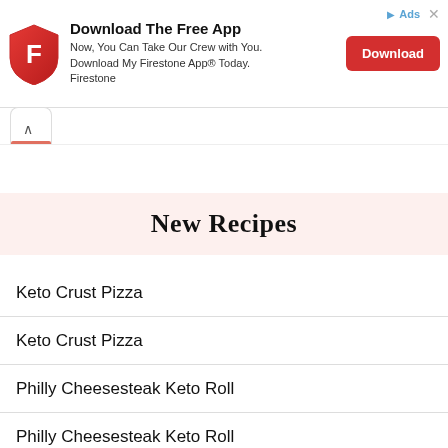[Figure (other): Firestone app advertisement banner with red shield logo, 'Download The Free App' headline, subtitle text, and red Download button]
[Figure (screenshot): Browser tab bar with a chevron/back arrow tab and a salmon-colored active tab indicator]
New Recipes
Keto Crust Pizza
Keto Crust Pizza
Philly Cheesesteak Keto Roll
Philly Cheesesteak Keto Roll